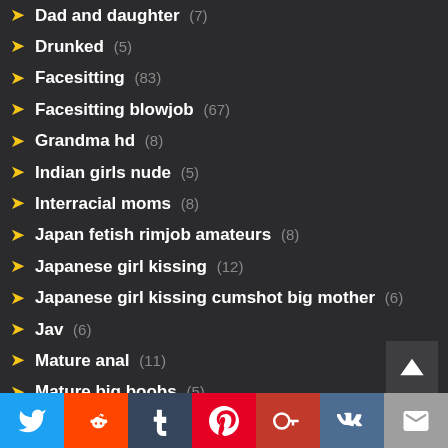Dad and daughter (7)
Drunked (5)
Facesitting (83)
Facesitting blowjob (67)
Grandma hd (8)
Indian girls nude (5)
Interracial moms (8)
Japan fetish rimjob amateurs (8)
Japanese girl kissing (12)
Japanese girl kissing cumshot big mother (6)
Jav (6)
Mature anal (11)
Mature big boobs (5)
Mom and son (15)
Mom son creampied (8)
Mother (10)